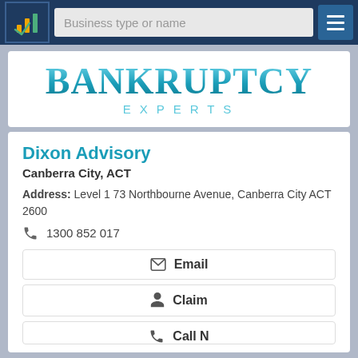[Figure (screenshot): Navigation bar with logo, search box saying 'Business type or name', and hamburger menu button]
[Figure (logo): Bankruptcy Experts logo with large bold cyan text 'BANKRUPTCY' and spaced subtitle 'E X P E R T S']
Dixon Advisory
Canberra City, ACT
Address: Level 1 73 Northbourne Avenue, Canberra City ACT 2600
1300 852 017
Email
Claim
Call N…